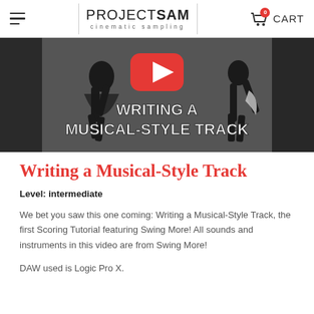PROJECT SAM cinematic sampling | CART
[Figure (screenshot): YouTube video thumbnail showing animated figures dancing with text 'WRITING A MUSICAL-STYLE TRACK' overlaid on a dark background with a red YouTube play button.]
Writing a Musical-Style Track
Level: intermediate
We bet you saw this one coming: Writing a Musical-Style Track, the first Scoring Tutorial featuring Swing More! All sounds and instruments in this video are from Swing More!
DAW used is Logic Pro X.